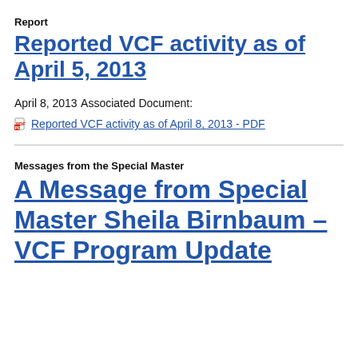Report
Reported VCF activity as of April 5, 2013
April 8, 2013
Associated Document:
Reported VCF activity as of April 8, 2013 - PDF
Messages from the Special Master
A Message from Special Master Sheila Birnbaum – VCF Program Update